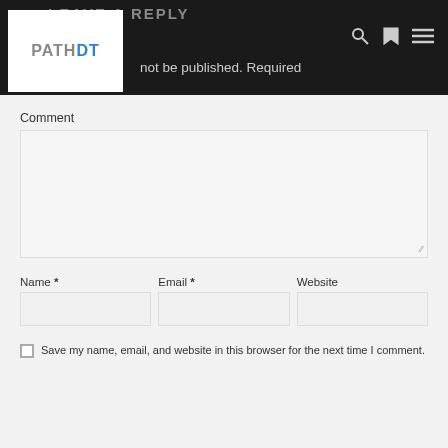LEAVE A REPLY
[Figure (logo): PATHDT logo in white box on dark header bar]
not be published. Required
Comment
Name *
Email *
Website
Save my name, email, and website in this browser for the next time I comment.